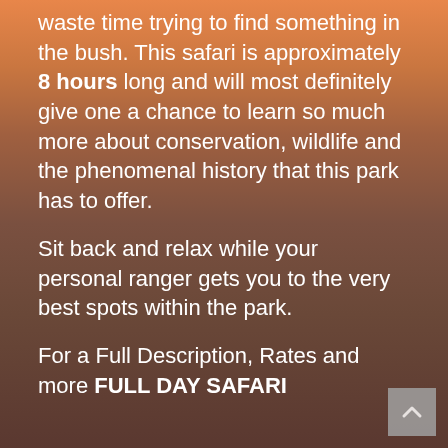waste time trying to find something in the bush. This safari is approximately 8 hours long and will most definitely give one a chance to learn so much more about conservation, wildlife and the phenomenal history that this park has to offer.
Sit back and relax while your personal ranger gets you to the very best spots within the park.
For a Full Description, Rates and more FULL DAY SAFARI